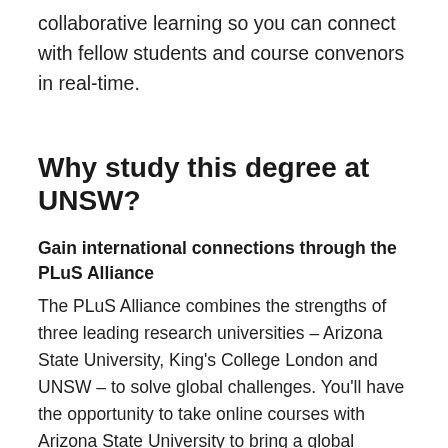collaborative learning so you can connect with fellow students and course convenors in real-time.
Why study this degree at UNSW?
Gain international connections through the PLuS Alliance
The PLuS Alliance combines the strengths of three leading research universities – Arizona State University, King's College London and UNSW – to solve global challenges. You'll have the opportunity to take online courses with Arizona State University to bring a global